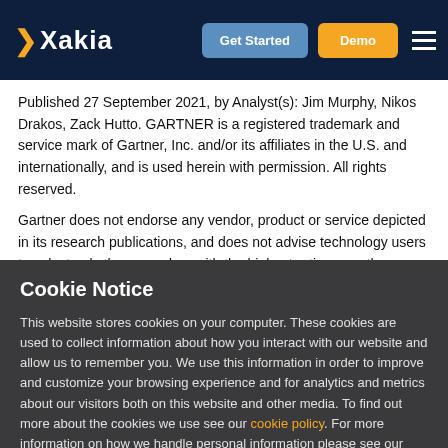Xakia | Get Started | Demo
Published 27 September 2021, by Analyst(s): Jim Murphy, Nikos Drakos, Zack Hutto. GARTNER is a registered trademark and service mark of Gartner, Inc. and/or its affiliates in the U.S. and internationally, and is used herein with permission. All rights reserved.
Gartner does not endorse any vendor, product or service depicted in its research publications, and does not advise technology users to select only those vendors with the highest ratings or other designation. Gartner research publications consist of the opinions of Gartner's
Cookie Notice
This website stores cookies on your computer. These cookies are used to collect information about how you interact with our website and allow us to remember you. We use this information in order to improve and customize your browsing experience and for analytics and metrics about our visitors both on this website and other media. To find out more about the cookies we use see our cookie policy. For more information on how we handle personal information please see our Privacy Policy.
ACCEPT